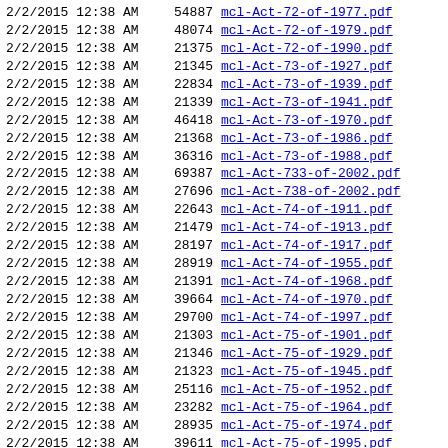| Date | Size | Filename |
| --- | --- | --- |
| 2/2/2015 12:38 AM | 54887 | mcl-Act-72-of-1977.pdf |
| 2/2/2015 12:38 AM | 48074 | mcl-Act-72-of-1979.pdf |
| 2/2/2015 12:38 AM | 21375 | mcl-Act-72-of-1990.pdf |
| 2/2/2015 12:38 AM | 21345 | mcl-Act-73-of-1927.pdf |
| 2/2/2015 12:38 AM | 22834 | mcl-Act-73-of-1939.pdf |
| 2/2/2015 12:38 AM | 21339 | mcl-Act-73-of-1941.pdf |
| 2/2/2015 12:38 AM | 46418 | mcl-Act-73-of-1970.pdf |
| 2/2/2015 12:38 AM | 21368 | mcl-Act-73-of-1986.pdf |
| 2/2/2015 12:38 AM | 36316 | mcl-Act-73-of-1988.pdf |
| 2/2/2015 12:38 AM | 69387 | mcl-Act-733-of-2002.pdf |
| 2/2/2015 12:38 AM | 27696 | mcl-Act-738-of-2002.pdf |
| 2/2/2015 12:38 AM | 22643 | mcl-Act-74-of-1911.pdf |
| 2/2/2015 12:38 AM | 21479 | mcl-Act-74-of-1913.pdf |
| 2/2/2015 12:38 AM | 28197 | mcl-Act-74-of-1917.pdf |
| 2/2/2015 12:38 AM | 28919 | mcl-Act-74-of-1955.pdf |
| 2/2/2015 12:38 AM | 21391 | mcl-Act-74-of-1968.pdf |
| 2/2/2015 12:38 AM | 39664 | mcl-Act-74-of-1970.pdf |
| 2/2/2015 12:38 AM | 29700 | mcl-Act-74-of-1997.pdf |
| 2/2/2015 12:38 AM | 21303 | mcl-Act-75-of-1901.pdf |
| 2/2/2015 12:38 AM | 21346 | mcl-Act-75-of-1929.pdf |
| 2/2/2015 12:38 AM | 21323 | mcl-Act-75-of-1945.pdf |
| 2/2/2015 12:38 AM | 25116 | mcl-Act-75-of-1952.pdf |
| 2/2/2015 12:38 AM | 23282 | mcl-Act-75-of-1964.pdf |
| 2/2/2015 12:38 AM | 28935 | mcl-Act-75-of-1974.pdf |
| 2/2/2015 12:38 AM | 39611 | mcl-Act-75-of-1995.pdf |
| 2/2/2015 12:38 AM | 73610 | mcl-Act-75-of-2009.pdf |
| 2/2/2015 12:38 AM | 21380 | mcl-Act-76-of-1853.pdf |
| 2/2/2015 12:38 AM | 21346 | mcl-Act-76-of-1879.pdf |
| 2/2/2015 12:38 AM | 23404 | mcl-Act-76-of-1917.pdf |
| 2/2/2015 12:38 AM | 21304 | mcl-Act-76-of-1929.pdf |